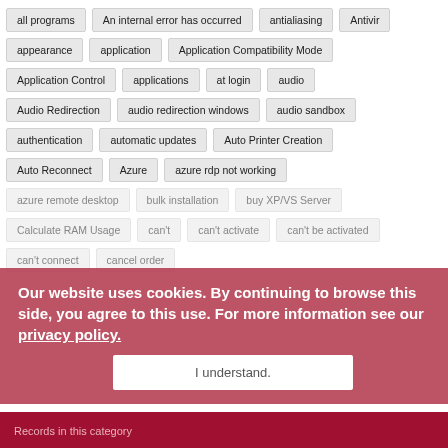all programs
An internal error has occurred
antialiasing
Antivir
appearance
application
Application Compatibility Mode
Application Control
applications
at login
audio
Audio Redirection
audio redirection windows
audio sandbox
authentication
automatic updates
Auto Printer Creation
Auto Reconnect
Azure
azure rdp not working
azure remote desktop
bulk installation
buy XP/VS Server
Calculate RAM Usage
can't
can't activate
can't be activated
can't connect
cancel order
Our website uses cookies. By continuing to browse this side, you agree to this use. For more information see our privacy policy.
I understand.
Records in this category